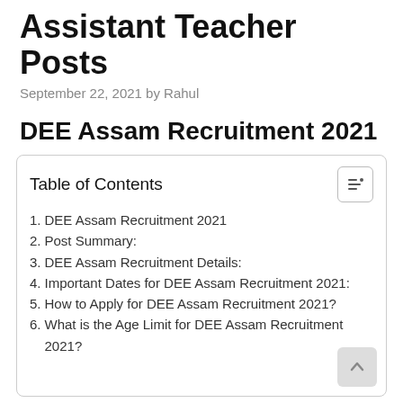Assistant Teacher Posts
September 22, 2021 by Rahul
DEE Assam Recruitment 2021
| Table of Contents |
| --- |
| 1. DEE Assam Recruitment 2021 |
| 2. Post Summary: |
| 3. DEE Assam Recruitment Details: |
| 4. Important Dates for DEE Assam Recruitment 2021: |
| 5. How to Apply for DEE Assam Recruitment 2021? |
| 6. What is the Age Limit for DEE Assam Recruitment 2021? |